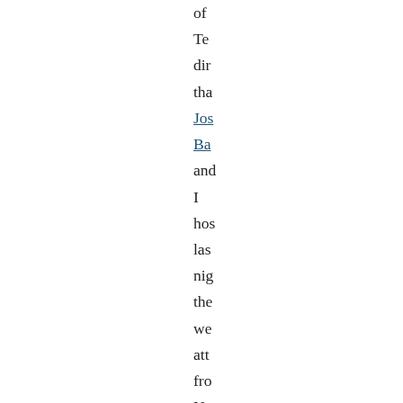of Te dir tha Jos Ba and I hos las nig the we att fro No and So the